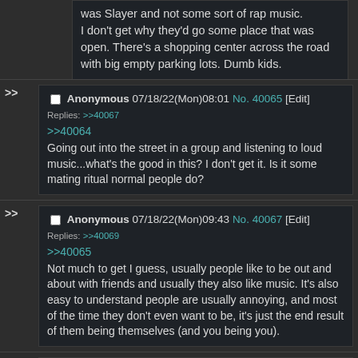was Slayer and not some sort of rap music. I don't get why they'd go some place that was open. There's a shopping center across the road with big empty parking lots. Dumb kids.
Anonymous 07/18/22(Mon)08:01 No. 40065 [Edit]
Replies: >>40067
>>40064
Going out into the street in a group and listening to loud music...what's the good in this? I don't get it. Is it some mating ritual normal people do?
Anonymous 07/18/22(Mon)09:43 No. 40067 [Edit]
Replies: >>40069
>>40065
Not much to get I guess, usually people like to be out and about with friends and usually they also like music. It's also easy to understand people are usually annoying, and most of the time they don't even want to be, it's just the end result of them being themselves (and you being you).
Anonymous 07/18/22(Mon)10:14 No. 40069 [Edit]
Replies: >>40071 >>40071